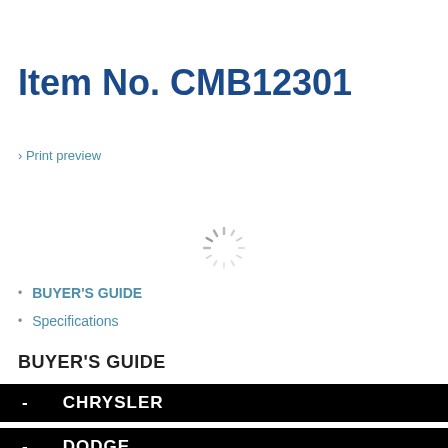Item No. CMB12301
› Print preview
[Figure (other): Loading spinner icon (circular dashed spinner graphic)]
BUYER'S GUIDE
Specifications
BUYER'S GUIDE
- CHRYSLER
- DODGE